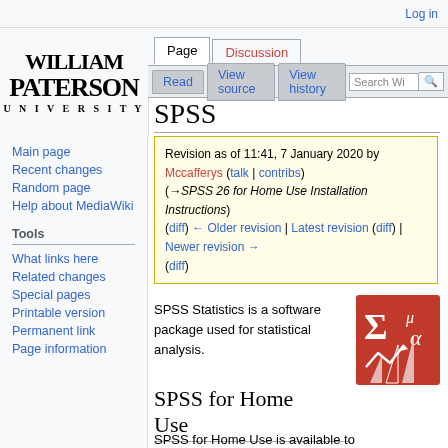Log in
Page | Discussion | Read | View source | View history | Search W
[Figure (logo): William Paterson University logo in black serif text]
Main page
Recent changes
Random page
Help about MediaWiki
Tools
What links here
Related changes
Special pages
Printable version
Permanent link
Page information
SPSS
Revision as of 11:41, 7 January 2020 by Mccafferys (talk | contribs) (→SPSS 26 for Home Use Installation Instructions) (diff) ← Older revision | Latest revision (diff) | Newer revision → (diff)
SPSS Statistics is a software package used for statistical analysis.
[Figure (logo): SPSS logo: red square with sigma, mu, alpha symbols and bar chart arrows]
SPSS for Home Use
SPSS for Home Use is available to